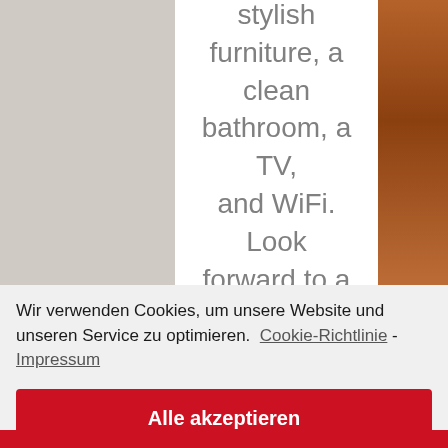[Figure (photo): Partial view of a hotel room with white bedding on the left, a brown wooden element on the right, with overlaid gray text describing room amenities.]
stylish furniture, a clean bathroom, a TV, and WiFi. Look forward to a great stay in Lenting! The
Wir verwenden Cookies, um unsere Website und unseren Service zu optimieren.  Cookie-Richtlinie - Impressum
Alle akzeptieren
Nur funktionale Cookies
Einstellungen anzeigen